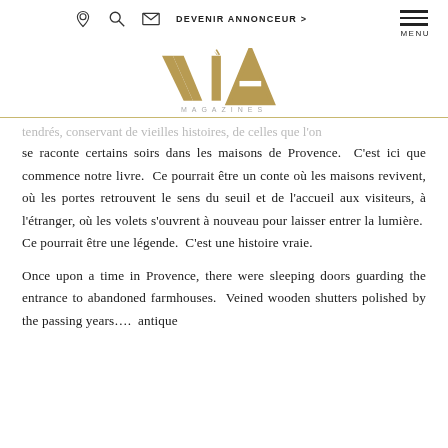DEVENIR ANNONCEUR >
[Figure (logo): VIA MAGAZINES logo in gold/tan color]
se raconte certains soirs dans les maisons de Provence. C'est ici que commence notre livre. Ce pourrait être un conte où les maisons revivent, où les portes retrouvent le sens du seuil et de l'accueil aux visiteurs, à l'étranger, où les volets s'ouvrent à nouveau pour laisser entrer la lumière. Ce pourrait être une légende. C'est une histoire vraie.
Once upon a time in Provence, there were sleeping doors guarding the entrance to abandoned farmhouses. Veined wooden shutters polished by the passing years…. antique